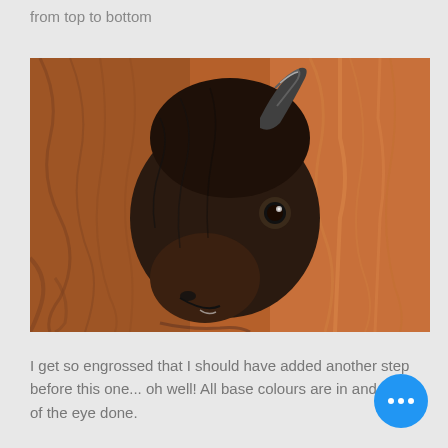from top to bottom
[Figure (illustration): A detailed painting of a bison head in profile, showing dark fur, one horn, and the eye. The background is painted in warm orange-brown tones suggesting the animal's body and fur.]
I get so engrossed that I should have added another step before this one... oh well! All base colours are in and detail of the eye done.